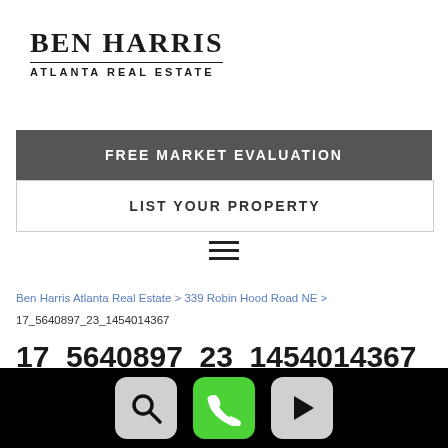BEN HARRIS
ATLANTA REAL ESTATE
FREE MARKET EVALUATION
LIST YOUR PROPERTY
Ben Harris Atlanta Real Estate > 339 Robin Hood Road NE > 17_5640897_23_1454014367
17_5640897_23_1454014367
[Figure (screenshot): Bottom navigation bar with search magnifying glass icon, green phone icon, and play button icon on black background]